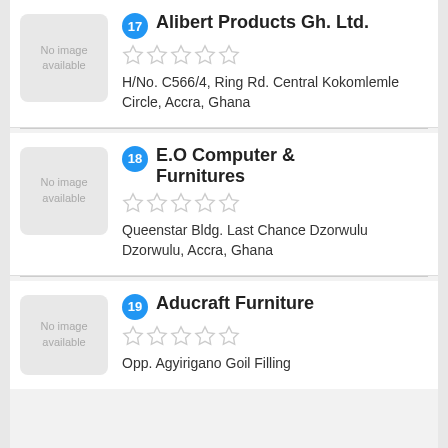[Figure (other): No image available placeholder box for listing 17]
17 Alibert Products Gh. Ltd.
H/No. C566/4, Ring Rd. Central Kokomlemle Circle, Accra, Ghana
[Figure (other): No image available placeholder box for listing 18]
18 E.O Computer & Furnitures
Queenstar Bldg. Last Chance Dzorwulu Dzorwulu, Accra, Ghana
[Figure (other): No image available placeholder box for listing 19]
19 Aducraft Furniture
Opp. Agyirigano Goil Filling